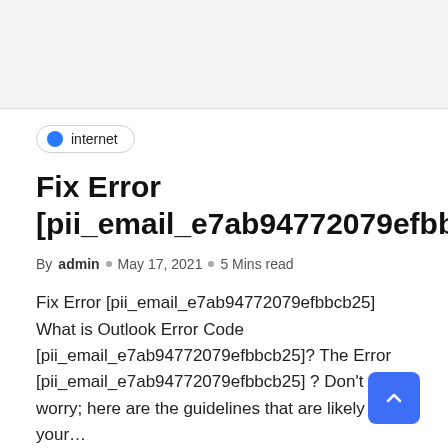[Figure (other): Gray placeholder image area at top of page]
internet
Fix Error [pii_email_e7ab94772079efbbcb25]
By admin  o  May 17, 2021  o  5 Mins read
Fix Error [pii_email_e7ab94772079efbbcb25]  What is Outlook Error Code [pii_email_e7ab94772079efbbcb25]? The Error [pii_email_e7ab94772079efbbcb25] ? Don't worry; here are the guidelines that are likely to fix your...